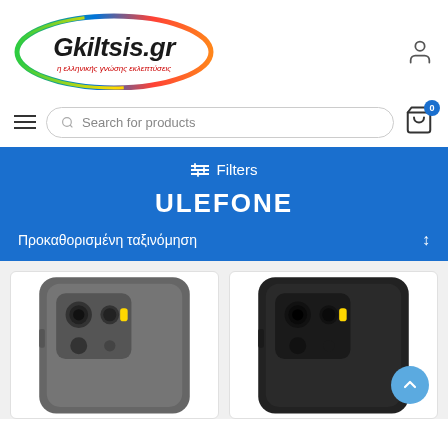[Figure (logo): Gkiltsis.gr logo - oval shape with rainbow gradient border and bold italic text 'Gkiltsis.gr' inside]
Search for products
ULEFONE
≡ Filters
Προκαθορισμένη ταξινόμηση
[Figure (photo): Gray rugged smartphone (Ulefone) seen from the back showing camera module]
[Figure (photo): Black rugged smartphone (Ulefone) seen from the back showing camera module]